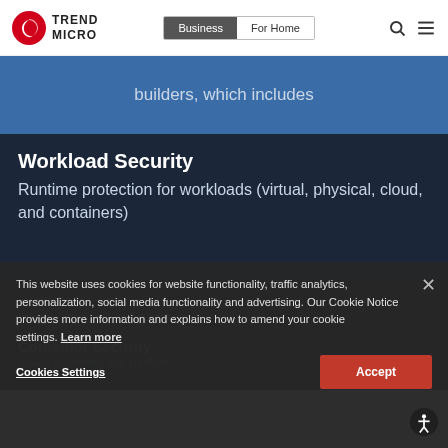Trend Micro — Business | For Home navigation bar
builders, which includes
Workload Security
Runtime protection for workloads (virtual, physical, cloud, and containers)
Learn more >
Container Security
Image scanning and runtime
This website uses cookies for website functionality, traffic analytics, personalization, social media functionality and advertising. Our Cookie Notice provides more information and explains how to amend your cookie settings. Learn more
Cookies Settings
Accept